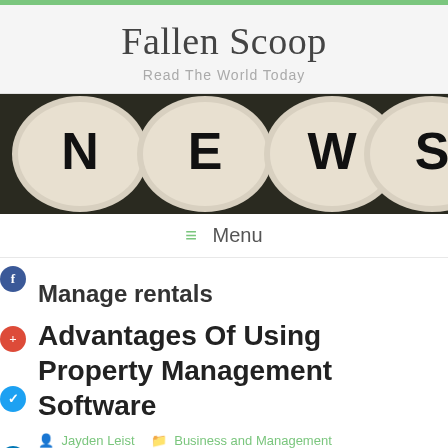Fallen Scoop
Read The World Today
[Figure (photo): Four round tiles spelling NEWS on a dark background]
≡ Menu
Manage rentals
Advantages Of Using Property Management Software
Jayden Leist   Business and Management